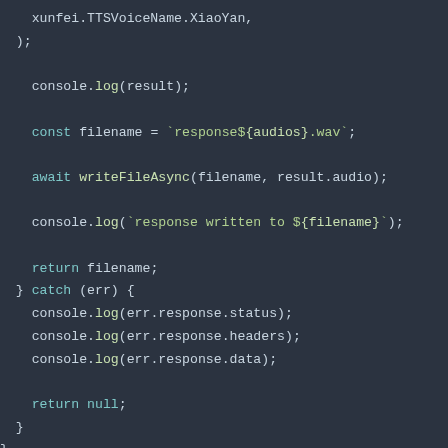[Figure (screenshot): Dark-themed code editor screenshot showing JavaScript code: continuation of a try/catch block with xunfei.TTSVoiceName.XiaoYan, console.log(result), const filename, await writeFileAsync, console.log response written, return filename, catch block with error logging, return null, closing braces.]